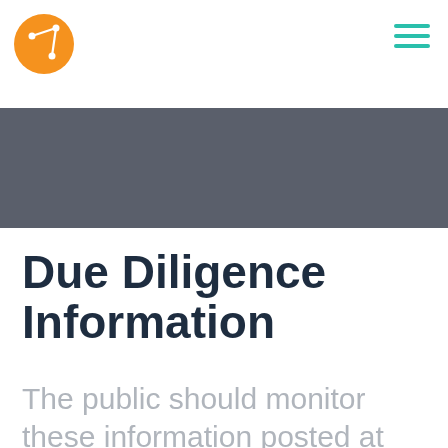Due Diligence Information
Due Diligence Information
The public should monitor these information posted at